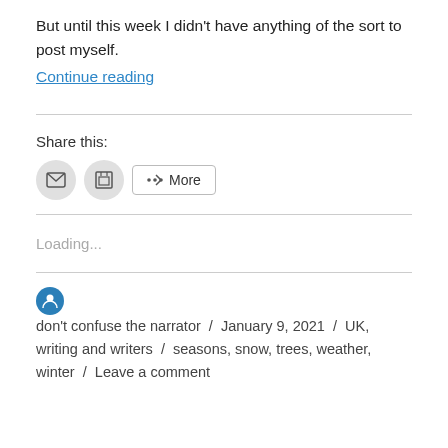But until this week I didn't have anything of the sort to post myself.
Continue reading
Share this:
Loading...
don't confuse the narrator / January 9, 2021 / UK, writing and writers / seasons, snow, trees, weather, winter / Leave a comment